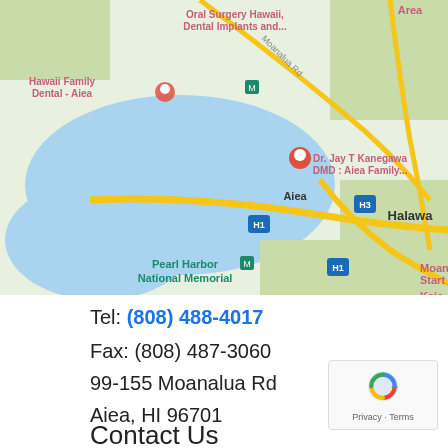[Figure (map): Google Maps screenshot showing Pearl Harbor area in Hawaii with landmarks including Pearl Harbor National Memorial, Battleship Missouri Memorial, Aiea, Halawa, Joint Base Pearl, Pacific Family Dental Inc, and Dr. Jay T Kanegawa DMD Aiea Family dental office. Map shows roads, water bodies (Pearl Harbor), and neighborhood labels including ALIAMANU - SALT LAKES - FOSTER VILLAGE area.]
Tel: (808) 488-4017
Fax: (808) 487-3060
99-155 Moanalua Rd
Aiea, HI 96701
Contact Us